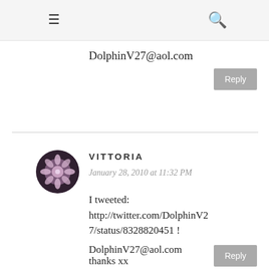≡  🔍
DolphinV27@aol.com
Reply
VITTORIA
January 28, 2010 at 11:32 PM
I tweeted: http://twitter.com/DolphinV27/status/8328820451 !

thanks xx
DolphinV27@aol.com
Reply